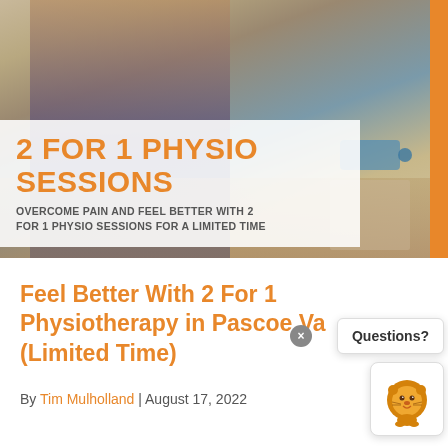[Figure (photo): Person bending over holding their lower back in pain, with exercise dumbbells visible in the background on a wooden floor. Promotional overlay text reads '2 FOR 1 PHYSIO SESSIONS' with subtitle about overcoming pain.]
Feel Better With 2 For 1 Physiotherapy in Pascoe Vale (Limited Time)
By Tim Mulholland | August 17, 2022